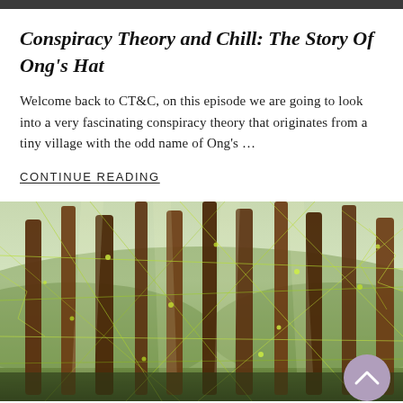Conspiracy Theory and Chill: The Story Of Ong's Hat
Welcome back to CT&C, on this episode we are going to look into a very fascinating conspiracy theory that originates from a tiny village with the odd name of Ong's ...
CONTINUE READING
[Figure (photo): A forest of tall pine trees with sunlight filtering through, overlaid with a yellow-green network/circuit pattern. A purple circular scroll-to-top button with a chevron up arrow is in the bottom right corner.]